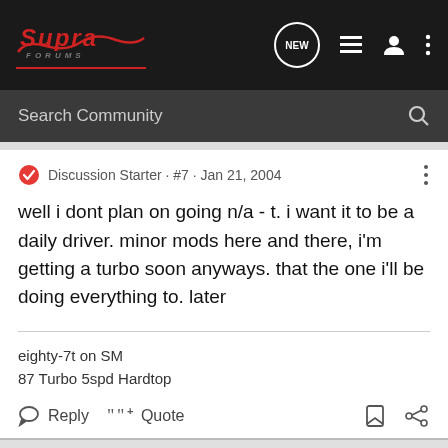Supra Forums — Search Community nav bar
Discussion Starter · #7 · Jan 21, 2004
well i dont plan on going n/a - t. i want it to be a daily driver. minor mods here and there, i'm getting a turbo soon anyways. that the one i'll be doing everything to. later
eighty-7t on SM
87 Turbo 5spd Hardtop
Reply   Quote
[Figure (screenshot): Advertisement banner showing unicef logo and children photo]